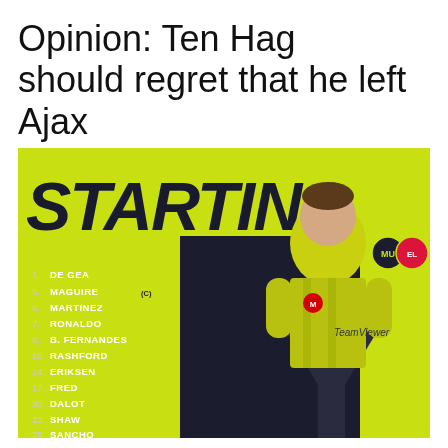Opinion: Ten Hag should regret that he left Ajax
[Figure (photo): Manchester United starting lineup graphic on a yellow-green background featuring the word STARTING in large bold dark text, a player in yellow kit, and a list of starting players: 1. De Gea, 5. Maguire (C), 6. Martinez, 7. Ronaldo, 8. B. Fernandes, 10. Rashford, 14. Eriksen, 17. Fred, 20. Dalot, 23. Shaw, 25. Sancho]